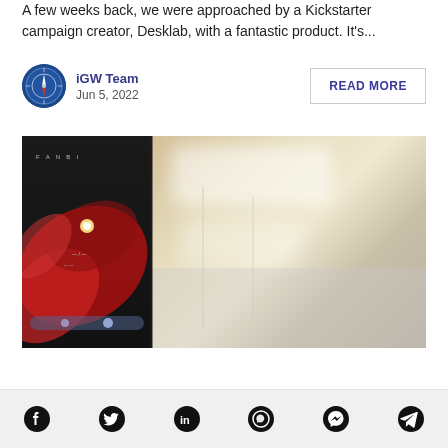A few weeks back, we were approached by a Kickstarter campaign creator, Desklab, with a fantastic product. It's...
iGW Team
Jun 5, 2022
READ MORE
[Figure (photo): Close-up photo of a smartphone with a red swirl wallpaper on the left side, and a blurred indoor background with ceiling lights and beige/tan walls on the right side.]
[Figure (infographic): Social media share bar with icons for Facebook, Twitter, LinkedIn, WhatsApp, Messenger, and Telegram.]